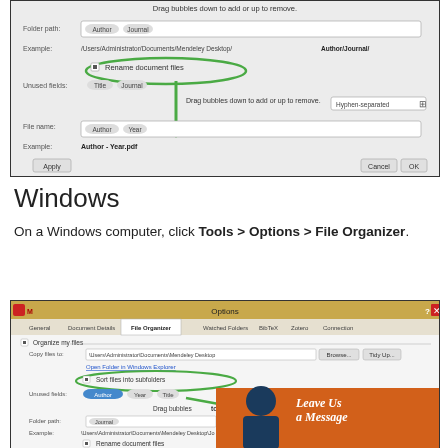[Figure (screenshot): Mac dialog screenshot showing file organizer settings with 'Rename document files' checkbox circled in green, folder path showing Author/Journal, and file name example 'Author - Year.pdf'. Green arrow points to File name field. Buttons: Apply, Cancel, OK.]
Windows
On a Windows computer, click Tools > Options > File Organizer.
[Figure (screenshot): Windows Mendeley Options dialog with File Organizer tab selected. 'Sort files into subfolders' checkbox circled in green. Fields for Copy files to path, Folder path showing Journal, Example path shown. Green arrow pointing to Folder path. Bottom right shows orange 'Leave Us a Message' promo with silhouette figure.]